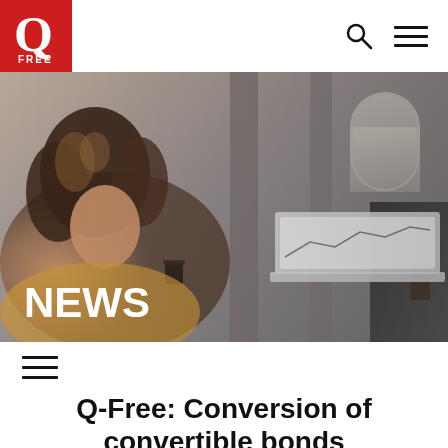[Figure (logo): Q-Free company logo — white Q letter on red background with FREE text below]
[Figure (photo): Woman with curly hair sitting, looking at a laptop, holding a coffee cup, in a blurred modern interior setting. NEWS text overlaid in white bold on the lower left.]
Q-Free: Conversion of convertible bonds